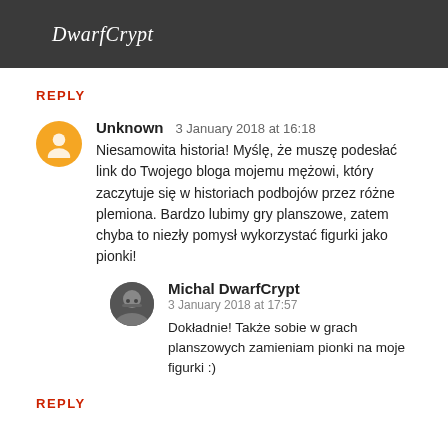DwarfCrypt
REPLY
Unknown  3 January 2018 at 16:18
Niesamowita historia! Myślę, że muszę podesłać link do Twojego bloga mojemu mężowi, który zaczytuje się w historiach podbojów przez różne plemiona. Bardzo lubimy gry planszowe, zatem chyba to niezły pomysł wykorzystać figurki jako pionki!
Michal DwarfCrypt
3 January 2018 at 17:57
Dokładnie! Także sobie w grach planszowych zamieniam pionki na moje figurki :)
REPLY